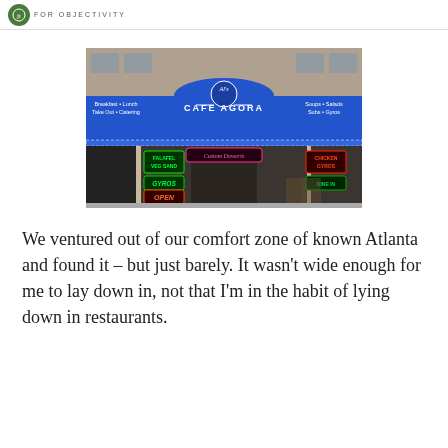FOR OBJECTIVITY
[Figure (photo): Exterior storefront of Al's Cafe Agora with a blue awning. The awning reads 'Al's CAFE AGORA' in the center, 'Breakfast • Lunch Take Out • Catering' on the left, and 'Soups • Salads Subs • Gyros' on the right. Neon signs in the window advertise Falafel Veg Sand, Gyros, Open, Custom Desserts, Chicken Gyros, and Dine In.]
We ventured out of our comfort zone of known Atlanta and found it – but just barely. It wasn't wide enough for me to lay down in, not that I'm in the habit of lying down in restaurants.